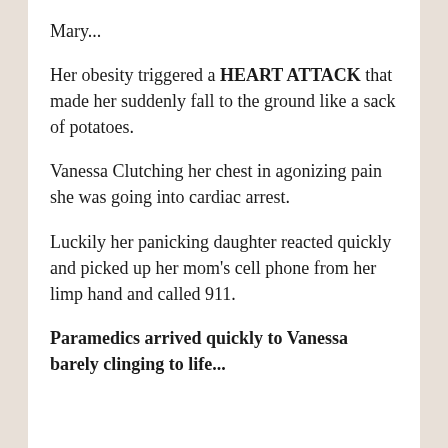Mary...
Her obesity triggered a HEART ATTACK that made her suddenly fall to the ground like a sack of potatoes.
Vanessa Clutching her chest in agonizing pain she was going into cardiac arrest.
Luckily her panicking daughter reacted quickly and picked up her mom's cell phone from her limp hand and called 911.
Paramedics arrived quickly to Vanessa barely clinging to life...